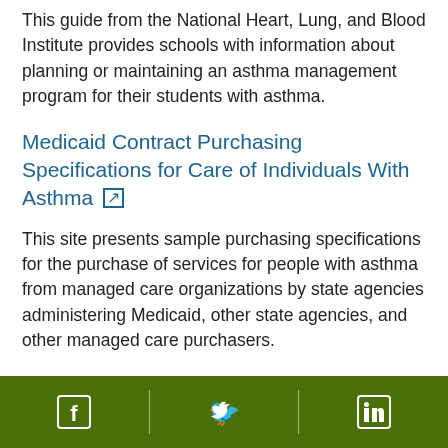This guide from the National Heart, Lung, and Blood Institute provides schools with information about planning or maintaining an asthma management program for their students with asthma.
Medicaid Contract Purchasing Specifications for Care of Individuals With Asthma [external link]
This site presents sample purchasing specifications for the purchase of services for people with asthma from managed care organizations by state agencies administering Medicaid, other state agencies, and other managed care purchasers.
Facebook | Twitter | LinkedIn